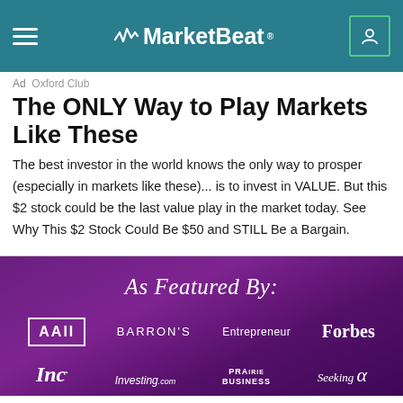MarketBeat
Ad  Oxford Club
The ONLY Way to Play Markets Like These
The best investor in the world knows the only way to prosper (especially in markets like these)... is to invest in VALUE. But this $2 stock could be the last value play in the market today. See Why This $2 Stock Could Be $50 and STILL Be a Bargain.
As Featured By:
[Figure (logo): Logos of AAII, BARRON'S, Entrepreneur, Forbes, Inc, Investing.com, Prairie Business, Seeking Alpha on a purple background]